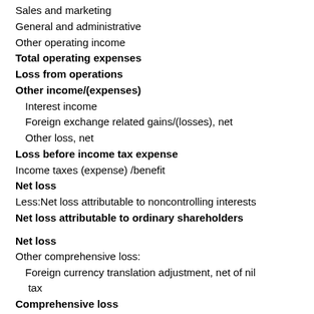Sales and marketing
General and administrative
Other operating income
Total operating expenses
Loss from operations
Other income/(expenses)
Interest income
Foreign exchange related gains/(losses), net
Other loss, net
Loss before income tax expense
Income taxes (expense) /benefit
Net loss
Less:Net loss attributable to noncontrolling interests
Net loss attributable to ordinary shareholders
Net loss
Other comprehensive loss:
Foreign currency translation adjustment, net of nil tax
Comprehensive loss